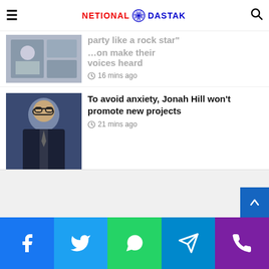NETIONAL DASTAK
party like a rock star
...on make their voices heard
16 mins ago
To avoid anxiety, Jonah Hill won't promote new projects
21 mins ago
Inside Secret Supper Club's $295 LA weed dinner
22 mins ago
[Figure (other): Gray advertisement placeholder section]
Facebook | Twitter | WhatsApp | Telegram | Phone